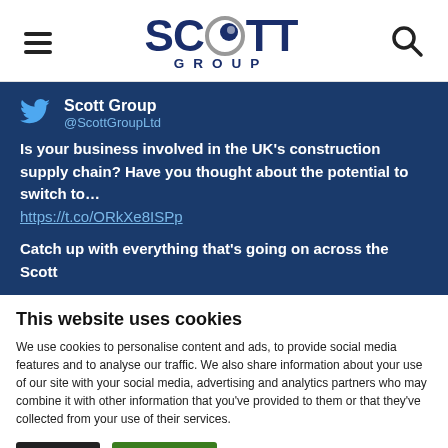[Figure (logo): Scott Group logo with hamburger menu icon on the left and search icon on the right. The logo shows SCOTT in large dark navy text with a circular graphic in the O, and GROUP in spaced letters below.]
Scott Group
@ScottGroupLtd
Is your business involved in the UK's construction supply chain? Have you thought about the potential to switch to...
https://t.co/ORkXe8ISPp
Catch up with everything that's going on across the Scott Group...
This website uses cookies
We use cookies to personalise content and ads, to provide social media features and to analyse our traffic. We also share information about your use of our site with your social media, advertising and analytics partners who may combine it with other information that you've provided to them or that they've collected from your use of their services.
Deny | Allow all | Show details